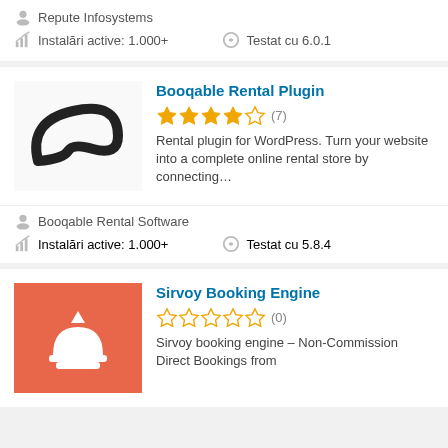Repute Infosystems
Instalări active: 1.000+   Testat cu 6.0.1
Booqable Rental Plugin
[Figure (illustration): Boomerang shape logo for Booqable Rental Plugin]
★★★★☆ (7)
Rental plugin for WordPress. Turn your website into a complete online rental store by connecting...
Booqable Rental Software
Instalări active: 1.000+   Testat cu 5.8.4
Sirvoy Booking Engine
[Figure (logo): Orange background with white hotel bell / concierge bell icon]
★☆☆☆☆ (0)
Sirvoy booking engine – Non-Commission Direct Bookings from